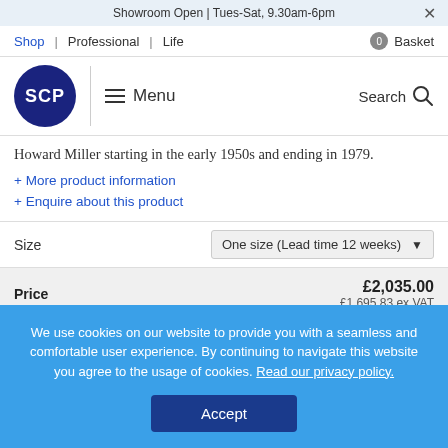Showroom Open | Tues-Sat, 9.30am-6pm
Shop | Professional | Life    0 Basket
[Figure (logo): SCP circular dark blue logo with white text 'SCP', hamburger menu icon with 'Menu' text, and Search icon with magnifying glass]
Howard Miller starting in the early 1950s and ending in 1979.
+ More product information
+ Enquire about this product
Size    One size (Lead time 12 weeks) ▼
| Price | £2,035.00 |
| --- | --- |
|  | £1,695.83 ex.VAT |
We use cookies on our website to provide you with a seamless and comfortable user experience. By continuing to navigate this website you agree to the usage of cookies. Read our privacy policy.